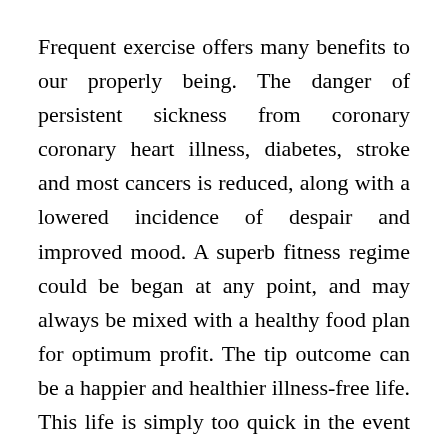Frequent exercise offers many benefits to our properly being. The danger of persistent sickness from coronary coronary heart illness, diabetes, stroke and most cancers is reduced, along with a lowered incidence of despair and improved mood. A superb fitness regime could be began at any point, and may always be mixed with a healthy food plan for optimum profit. The tip outcome can be a happier and healthier illness-free life. This life is simply too quick in the event you forbid your favourite meals. Go eat some nonetheless in a rational amount. If you happen to happen to like pizza, grab a plate in a small amount. It is a good Weight Loss Suggestions for Girls. It is doable